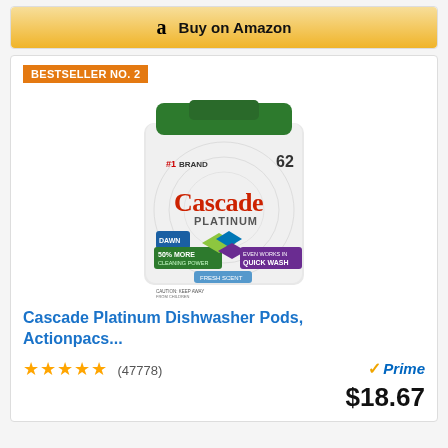[Figure (other): Amazon 'Buy on Amazon' button with Amazon logo and golden background]
BESTSELLER NO. 2
[Figure (photo): Cascade Platinum Dishwasher Pods product container with green lid, showing #1 Brand, 62 ActionPacs, 50% More Cleaning Power, Even Works in Quick Wash labels]
Cascade Platinum Dishwasher Pods, Actionpacs...
★★★★★ (47778)
✓Prime
$18.67